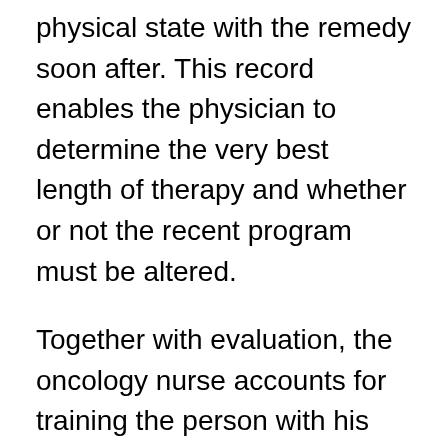physical state with the remedy soon after. This record enables the physician to determine the very best length of therapy and whether or not the recent program must be altered.
Together with evaluation, the oncology nurse accounts for training the person with his fantastic loved ones in the remedy that the individual will probably be acquiring. She'll also explain the kind of many forms of cancer he has and just how this treatment will assist.
Through the entire whole cancers therapy procedure, the health care worker and also the